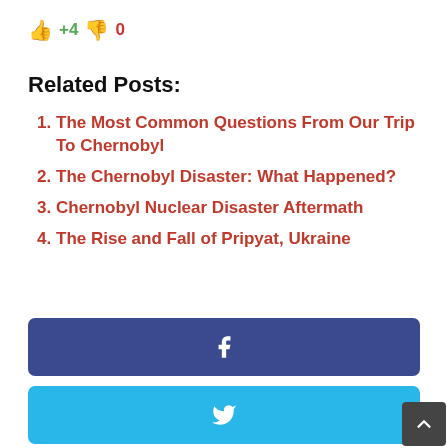👍 +4 👎 0
Related Posts:
The Most Common Questions From Our Trip To Chernobyl
The Chernobyl Disaster: What Happened?
Chernobyl Nuclear Disaster Aftermath
The Rise and Fall of Pripyat, Ukraine
[Figure (other): Facebook share button (blue)]
[Figure (other): Twitter share button (light blue)]
[Figure (other): Pinterest share button (red)]
[Figure (other): Email share button (gray)]